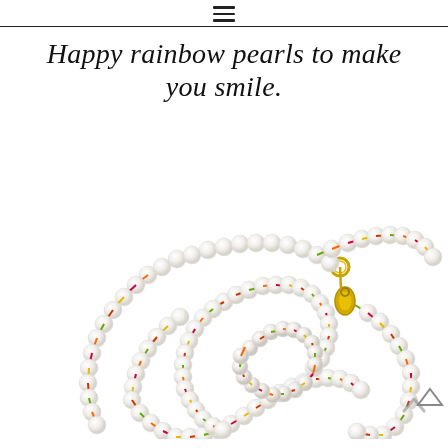≡
Happy rainbow pearls to make you smile.
[Figure (photo): A long pearl necklace coiled loosely on a white background. The pearls are white/cream and connected with colorful thread in red, orange, yellow, green, and other rainbow colors between each pearl. A gold lobster clasp and a gold jump ring are visible near the top right of the necklace arrangement.]